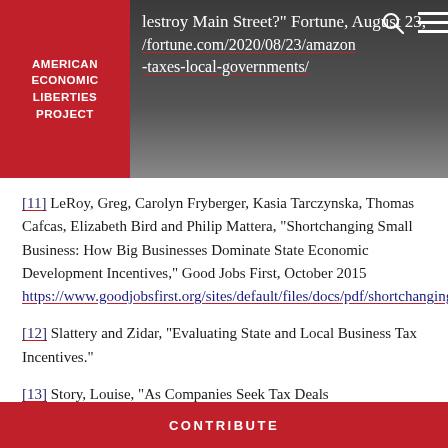lestroy Main Street?" Fortune, August 23, /fortune.com/2020/08/23/amazon -taxes-local-governments/
[11] LeRoy, Greg, Carolyn Fryberger, Kasia Tarczynska, Thomas Cafcas, Elizabeth Bird and Philip Mattera, “Shortchanging Small Business: How Big Businesses Dominate State Economic Development Incentives,” Good Jobs First, October 2015 https://www.goodjobsfirst.org/sites/default/files/docs/pdf/shortchanging.pdf
[12] Slattery and Zidar, “Evaluating State and Local Business Tax Incentives.”
[13] Story, Louise, “As Companies Seek Tax Deals
CONTRIBUTE